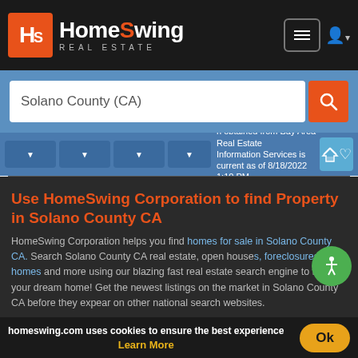HomeSwing Real Estate
Solano County (CA)
Information obtained from Bay Area Real Estate Information Services is current as of 8/18/2022 1:10 PM.
Use HomeSwing Corporation to find Property in Solano County CA
HomeSwing Corporation helps you find homes for sale in Solano County CA. Search Solano County CA real estate, open houses, foreclosures, new homes and more using our blazing fast real estate search engine to find your dream home! Get the newest listings on the market in Solano County CA before they appear on other national search websites.
Solano County CA Real Estate
homeswing.com uses cookies to ensure the best experience
Learn More